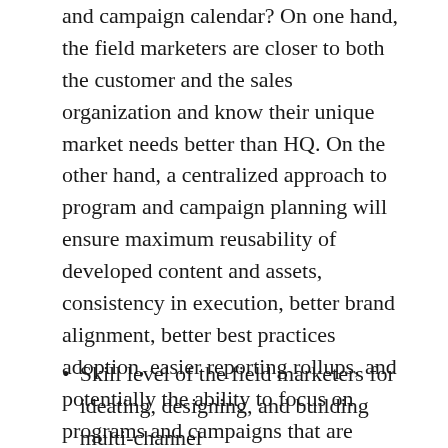and campaign calendar? On one hand, the field marketers are closer to both the customer and the sales organization and know their unique market needs better than HQ. On the other hand, a centralized approach to program and campaign planning will ensure maximum reusability of developed content and assets, consistency in execution, better brand alignment, better best practices adoption, easier reporting rollups, and potentially the ability to focus on programs and campaigns that are delivering the best results. So, the criteria for a decision are:
Skill level of the field marketers for ideating, designing, and building multi-channel